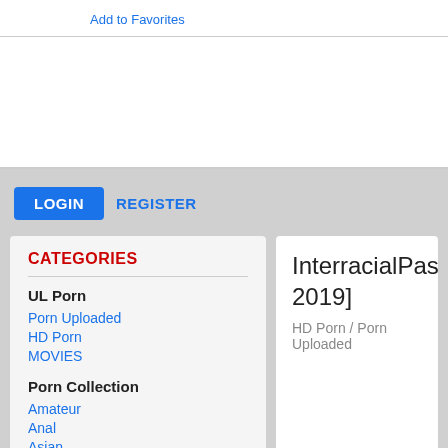Add to Favorites
[Figure (other): Advertisement banner area (white space)]
LOGIN  REGISTER
CATEGORIES
UL Porn
Porn Uploaded
HD Porn
MOVIES
Porn Collection
Amateur
Anal
Asian
InterracialPass.co 2019]
HD Porn / Porn Uploaded